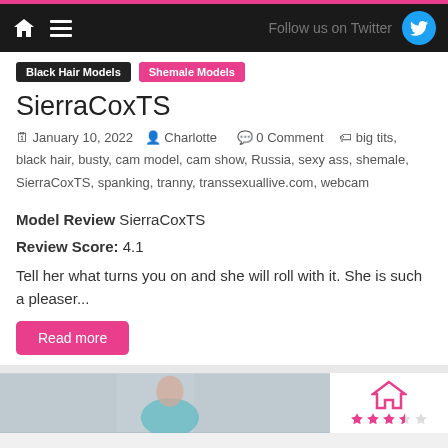Follow us on Twitter
Black Hair Models | Shemale Models
SierraCoxTS
January 10, 2022  Charlotte  0 Comment  big tits, black hair, busty, cam model, cam show, Russia, sexy ass, shemale, SierraCoxTS, spanking, tranny, transsexuallive.com, webcam
Model Review SierraCoxTS
Review Score: 4.1
Tell her what turns you on and she will roll with it. She is such a pleaser...
Read more
[Figure (photo): Bottom portion showing a photo of a model and a star rating graphic]